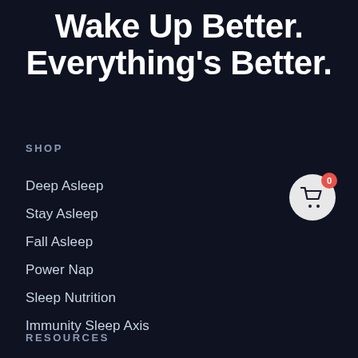Wake Up Better. Everything's Better.
SHOP
Deep Asleep
Stay Asleep
Fall Asleep
Power Nap
Sleep Nutrition
Immunity Sleep Axis
[Figure (illustration): Shopping cart icon in a light gray circle with a red badge showing 0]
RESOURCES